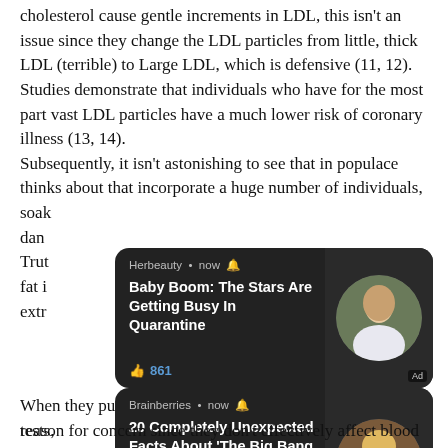cholesterol cause gentle increments in LDL, this isn't an issue since they change the LDL particles from little, thick LDL (terrible) to Large LDL, which is defensive (11, 12). Studies demonstrate that individuals who have for the most part vast LDL particles have a much lower risk of coronary illness (13, 14). Subsequently, it isn't astonishing to see that in populace thinks about that incorporate a huge number of individuals, soak... dan... Truth... fat is... extre...
[Figure (screenshot): Ad overlay from Herbeauty: 'Baby Boom: The Stars Are Getting Busy In Quarantine' with 861 likes, circular photo of woman]
When they put this under serious scrutiny in real human tests, mak... "hea... chol... Main... gene...
[Figure (screenshot): Ad overlay from Brainberries: '20 Completely Unexpected Facts About The Big Bang Theory' with 176 likes, circular photo of blonde woman]
reason for concern since they don't effectively affect blood